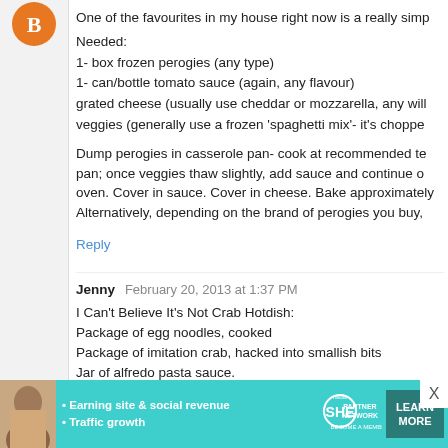[Figure (illustration): Orange circular blogger avatar icon]
One of the favourites in my house right now is a really simp
Needed:
1- box frozen perogies (any type)
1- can/bottle tomato sauce (again, any flavour)
grated cheese (usually use cheddar or mozzarella, any will
veggies (generally use a frozen 'spaghetti mix'- it's choppe
Dump perogies in casserole pan- cook at recommended te pan; once veggies thaw slightly, add sauce and continue o oven. Cover in sauce. Cover in cheese. Bake approximately Alternatively, depending on the brand of perogies you buy,
Reply
Jenny  February 20, 2013 at 1:37 PM
I Can't Believe It's Not Crab Hotdish:
Package of egg noodles, cooked
Package of imitation crab, hacked into smallish bits
Jar of alfredo pasta sauce.
Combine and MMMM. It's also pretty good cold, and ta
We also eat a lot of rice tacos... which I suppose a
[Figure (infographic): SHE Partner Network advertisement banner with teal background, woman photo, bullet points about earning site and social revenue and traffic growth, SHE logo, and LEARN MORE button]